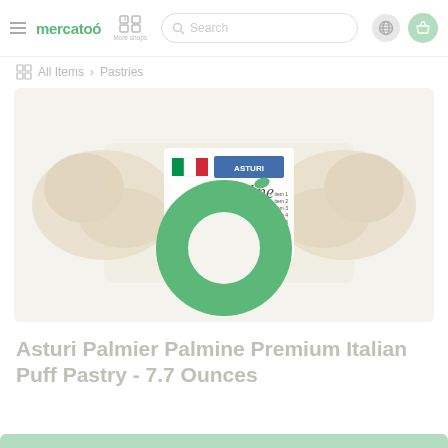mercato — More shops | Search | (globe) (basket)
All Items > Pastries
[Figure (photo): Package of Asturi Palmier Palmine Premium Italian Puff Pastry on a light beige background, with the Mercato app overlay showing a large teal donut/ring icon over the product image.]
Asturi Palmier Palmine Premium Italian Puff Pastry - 7.7 Ounces